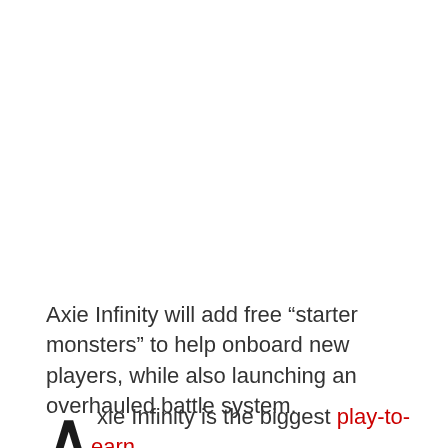Axie Infinity will add free “starter monsters” to help onboard new players, while also launching an overhauled battle system.
Axie Infinity is the biggest play-to-earn